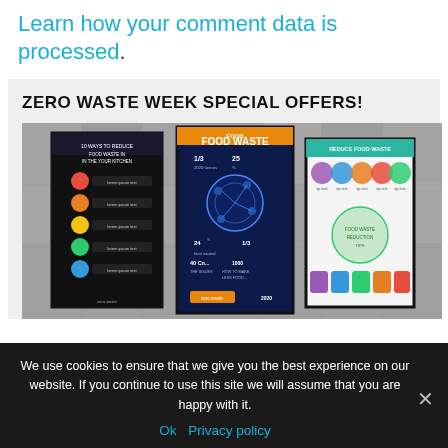Learn how your comment data is processed.
ZERO WASTE WEEK SPECIAL OFFERS!
[Figure (infographic): Three framed infographic posters displayed on a concrete wall background. Left: dark poster with colorful circular icons about food waste in the home kitchen. Center: dark blue poster titled 'FOOD WASTE' with statistics and icons. Right: white/colorful poster titled 'REDUCE FOOD WASTE' with illustrated tips.]
We use cookies to ensure that we give you the best experience on our website. If you continue to use this site we will assume that you are happy with it.
Ok   Privacy policy